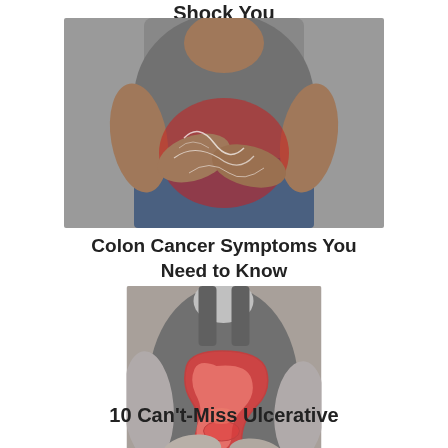Shock You
[Figure (photo): Man holding his abdomen with both hands, red highlighted area indicating pain/discomfort in the abdominal region, wearing a gray t-shirt and jeans, gray background]
Colon Cancer Symptoms You Need to Know
[Figure (photo): Woman in a gray sleeveless top holding her lower abdomen, with a superimposed anatomical illustration of the colon (large intestine) shown in red/orange tones on her midsection]
10 Can't-Miss Ulcerative Colitis (UC) Symptoms